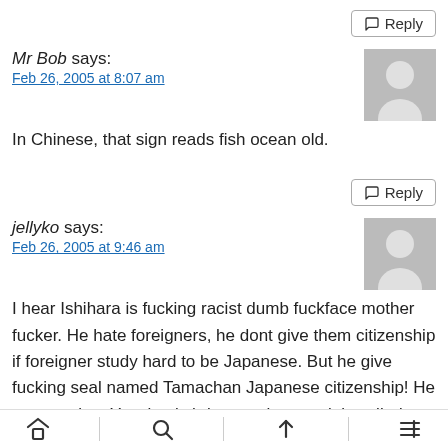Reply
Mr Bob says:
Feb 26, 2005 at 8:07 am
In Chinese, that sign reads fish ocean old.
Reply
jellyko says:
Feb 26, 2005 at 9:46 am
I hear Ishihara is fucking racist dumb fuckface mother fucker. He hate foreigners, he dont give them citizenship if foreigner study hard to be Japanese. But he give fucking seal named Tamachan Japanese citizenship! He congratulate Yasukuni shrine or whatever it is called. Some Korean or Chinese guy should suicide bomb that
Home Search Up Menu